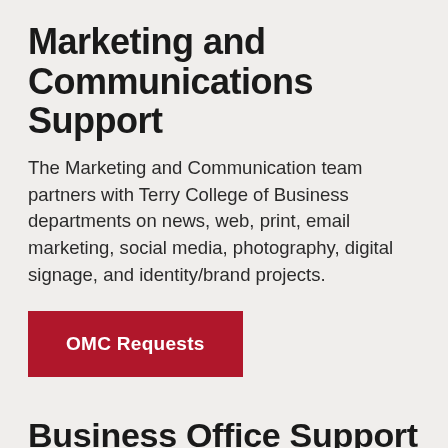Marketing and Communications Support
The Marketing and Communication team partners with Terry College of Business departments on news, web, print, email marketing, social media, photography, digital signage, and identity/brand projects.
[Figure (other): Red button labeled 'OMC Requests']
Business Office Support
The Business Office team provides assistance to faculty, staff and students by processing and